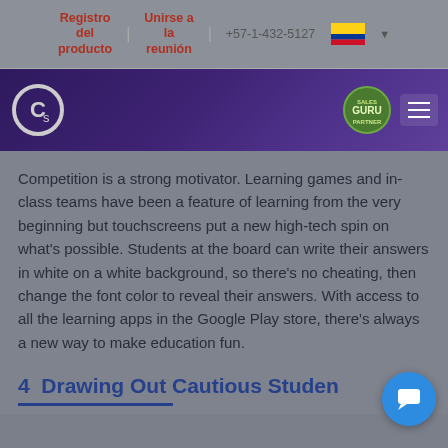Registro del producto | Unirse a la reunión | +57-1-432-5127
[Figure (logo): Website header with logo (circular C with lowercase s), Guru badge, and hamburger menu on dark purple gradient background]
Competition is a strong motivator. Learning games and in-class teams have been a feature of learning from the very beginning but touchscreens put a new high-tech spin on what’s possible. Students at the board can write their answers in white on a white background, so there’s no cheating, then change the font color to reveal their answers. With access to all the learning apps in the Google Play store, there’s always a new way to make education fun.
4  Drawing Out Cautious Studen…